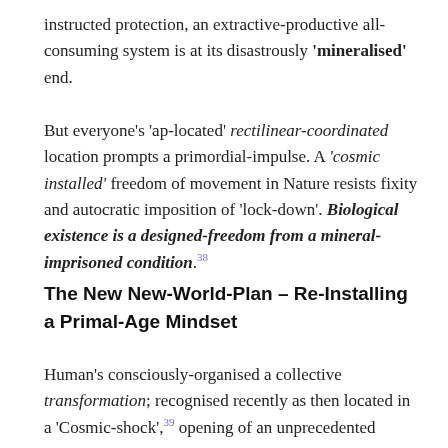instructed protection, an extractive-productive all-consuming system is at its disastrously 'mineralised' end.
But everyone's 'ap-located' rectilinear-coordinated location prompts a primordial-impulse. A 'cosmic installed' freedom of movement in Nature resists fixity and autocratic imposition of 'lock-down'. Biological existence is a designed-freedom from a mineral-imprisoned condition.38
The New New-World-Plan – Re-Installing a Primal-Age Mindset
Human's consciously-organised a collective transformation; recognised recently as then located in a 'Cosmic-shock',39 opening of an unprecedented